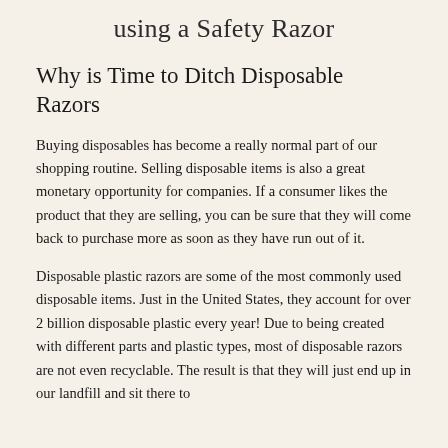using a Safety Razor
Why is Time to Ditch Disposable Razors
Buying disposables has become a really normal part of our shopping routine. Selling disposable items is also a great monetary opportunity for companies. If a consumer likes the product that they are selling, you can be sure that they will come back to purchase more as soon as they have run out of it.
Disposable plastic razors are some of the most commonly used disposable items. Just in the United States, they account for over 2 billion disposable plastic every year! Due to being created with different parts and plastic types, most of disposable razors are not even recyclable. The result is that they will just end up in our landfill and sit there to